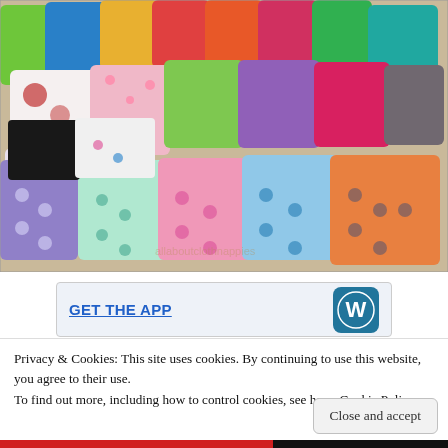[Figure (photo): A large colorful collection of cloth diapers/nappies arranged in a pile on a beige carpet. The diapers are many colors including green, blue, yellow, orange, red, pink, purple, teal, white, black, and gray, as well as patterned ones with floral and cartoon prints.]
[Figure (infographic): A partial banner showing 'GET THE APP' in bold blue underlined text on a light background, with a WordPress logo icon (blue circle with W) on the right side.]
Privacy & Cookies: This site uses cookies. By continuing to use this website, you agree to their use.
To find out more, including how to control cookies, see here: Cookie Policy
Close and accept